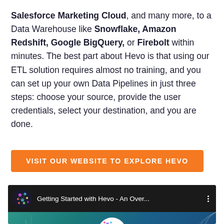Salesforce Marketing Cloud, and many more, to a Data Warehouse like Snowflake, Amazon Redshift, Google BigQuery, or Firebolt within minutes. The best part about Hevo is that using our ETL solution requires almost no training, and you can set up your own Data Pipelines in just three steps: choose your source, provide the user credentials, select your destination, and you are done.
[Figure (other): Orange button with text VISIT OUR WEBSITE TO EXPLORE HEVO]
[Figure (screenshot): Embedded YouTube video thumbnail titled 'Getting Started with Hevo - An Over...' showing the Hevo logo and a YouTube play button on a teal/blue gradient background]